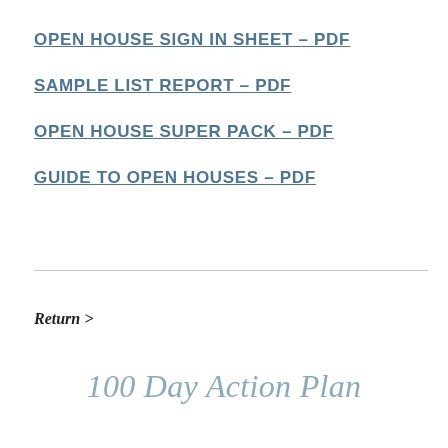OPEN HOUSE SIGN IN SHEET – PDF
SAMPLE LIST REPORT – PDF
OPEN HOUSE SUPER PACK – PDF
GUIDE TO OPEN HOUSES – PDF
Return >
100 Day Action Plan